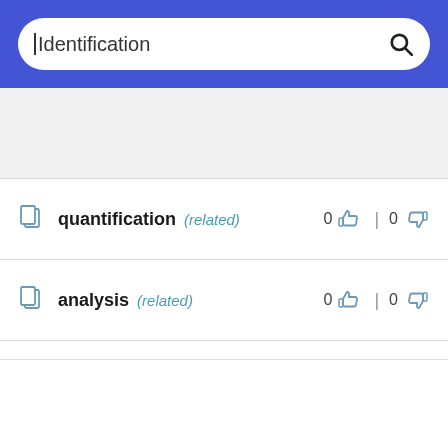[Figure (screenshot): Search bar with blue background, rounded white input box containing text cursor and the word 'Identification', and a search icon on the right]
quantification (related) 0 thumbs-up | 0 thumbs-down
analysis (related) 0 thumbs-up | 0 thumbs-down
segmentation (related) 0 thumbs-up | 0 thumbs-down
(partial row, cut off)